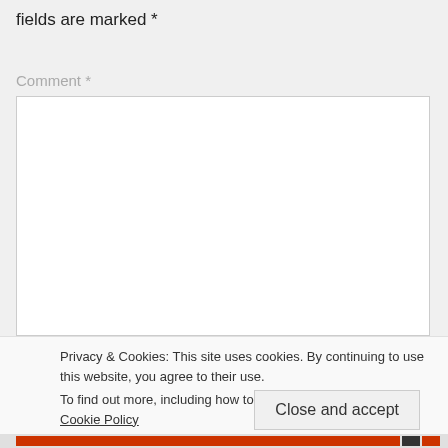fields are marked *
Comment *
[Figure (screenshot): Empty comment text area input box with white background and gray border]
Privacy & Cookies: This site uses cookies. By continuing to use this website, you agree to their use.
To find out more, including how to control cookies, see here: Cookie Policy
Close and accept